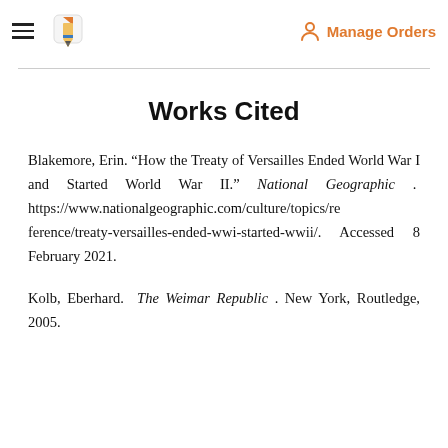Manage Orders
avoid falling into the same path...
Works Cited
Blakemore, Erin. “How the Treaty of Versailles Ended World War I and Started World War II.” National Geographic . https://www.nationalgeographic.com/culture/topics/reference/treaty-versailles-ended-wwi-started-wwii/. Accessed 8 February 2021.
Kolb, Eberhard. The Weimar Republic . New York, Routledge, 2005.